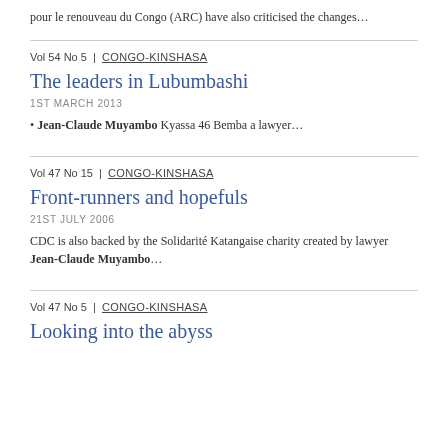pour le renouveau du Congo (ARC) have also criticised the changes…
Vol 54 No 5 | CONGO-KINSHASA
The leaders in Lubumbashi
1ST MARCH 2013
• Jean-Claude Muyambo Kyassa 46 Bemba a lawyer…
Vol 47 No 15 | CONGO-KINSHASA
Front-runners and hopefuls
21ST JULY 2006
CDC is also backed by the Solidarité Katangaise charity created by lawyer Jean-Claude Muyambo…
Vol 47 No 5 | CONGO-KINSHASA
Looking into the abyss